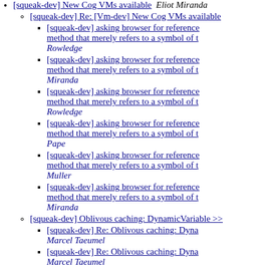[squeak-dev] New Cog VMs available  Eliot Miranda
[squeak-dev] Re: [Vm-dev] New Cog VMs available
[squeak-dev] asking browser for reference method that merely refers to a symbol of t  Rowledge
[squeak-dev] asking browser for reference method that merely refers to a symbol of t  Miranda
[squeak-dev] asking browser for reference method that merely refers to a symbol of t  Rowledge
[squeak-dev] asking browser for reference method that merely refers to a symbol of t  Pape
[squeak-dev] asking browser for reference method that merely refers to a symbol of t  Muller
[squeak-dev] asking browser for reference method that merely refers to a symbol of t  Miranda
[squeak-dev] Oblivous caching: DynamicVariable >>
[squeak-dev] Re: Oblivous caching: Dyna  Marcel Taeumel
[squeak-dev] Re: Oblivous caching: Dyna  Marcel Taeumel